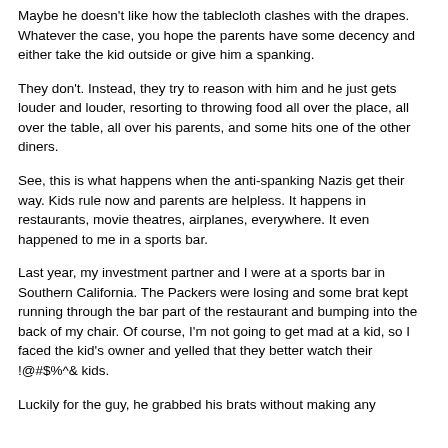Maybe he doesn't like how the tablecloth clashes with the drapes. Whatever the case, you hope the parents have some decency and either take the kid outside or give him a spanking.
They don't. Instead, they try to reason with him and he just gets louder and louder, resorting to throwing food all over the place, all over the table, all over his parents, and some hits one of the other diners.
See, this is what happens when the anti-spanking Nazis get their way. Kids rule now and parents are helpless. It happens in restaurants, movie theatres, airplanes, everywhere. It even happened to me in a sports bar.
Last year, my investment partner and I were at a sports bar in Southern California. The Packers were losing and some brat kept running through the bar part of the restaurant and bumping into the back of my chair. Of course, I'm not going to get mad at a kid, so I faced the kid's owner and yelled that they better watch their !@#$%^& kids.
Luckily for the guy, he grabbed his brats without making any...